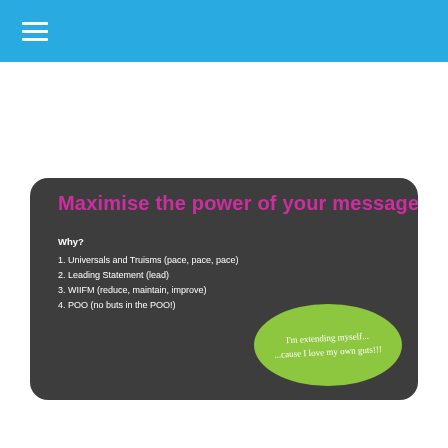Maximise the power of your message...
Why?
1. Universals and Truisms (pace, pace, pace)
2. Leading Statement (lead)
3. WIIFM (reduce, maintain, improve)
4. POO (no buts in the POO!)
[Figure (illustration): Dark rounded rectangle card with pink title text 'Maximise the power of your message...', a white numbered list about persuasion elements, and a green oval with handwritten-style white text reading 'I'm extending myself... cause I love my own guts!!!']